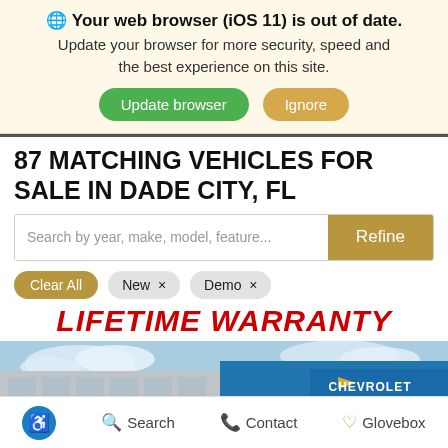🌐 Your web browser (iOS 11) is out of date. Update your browser for more security, speed and the best experience on this site.
Update browser | Ignore
87 MATCHING VEHICLES FOR SALE IN DADE CITY, FL
Search by year, make, model, feature...
Refine
Clear All | New × | Demo ×
LIFETIME WARRANTY
[Figure (photo): Jim Browne Chevrolet dealership exterior photo showing the building facade with blue Chevrolet branding, clear sky in background. Two circular chat/message buttons overlaid in bottom right corner.]
♿ Search   📞 Contact   ♡ Glovebox